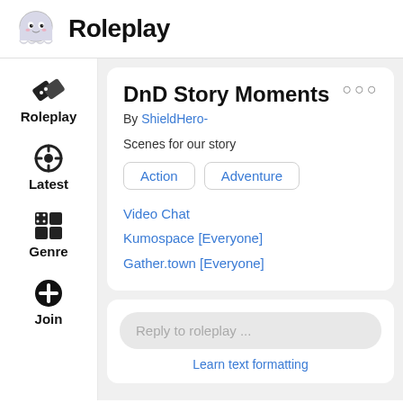Roleplay
DnD Story Moments
By ShieldHero-
Scenes for our story
Action
Adventure
Video Chat
Kumospace [Everyone]
Gather.town [Everyone]
Reply to roleplay ...
Learn text formatting